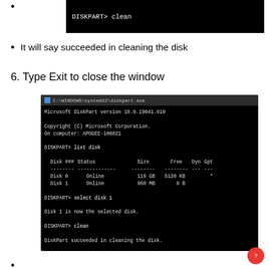[Figure (screenshot): Black terminal window showing 'DISKPART> clean' command]
It will say succeeded in cleaning the disk
6. Type Exit to close the window
[Figure (screenshot): Windows Command Prompt showing C:\WINDOWS\system32\diskpart.exe with Microsoft DiskPart version 10.0.19041.610, Copyright (C) Microsoft Corporation, On computer: APOGEE-100821, DISKPART> list disk with Disk 0 Online 119 GB 5120 KB Gpt *, Disk 1 Online 960 MB 0 B, DISKPART> select disk 1, Disk 1 is now the selected disk., DISKPART> clean, DiskPart succeeded in cleaning the disk., DISKPART> exit]